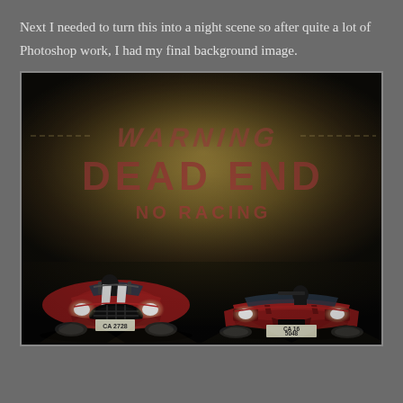Next I needed to turn this into a night scene so after quite a lot of Photoshop work, I had my final background image.
[Figure (photo): Night scene photo of two classic red sports cars facing the camera in front of a dark wall with stenciled text reading 'WARNING DEAD END NO RACING'. Left car is an AC Cobra with white racing stripes and license plate CA 2728. Right car is a Corvette with license plate CA 16 5048. Both cars have their headlights on. The scene is dark and dramatic.]